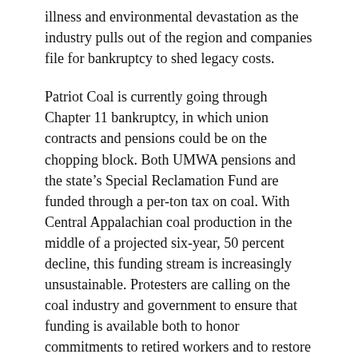illness and environmental devastation as the industry pulls out of the region and companies file for bankruptcy to shed legacy costs.
Patriot Coal is currently going through Chapter 11 bankruptcy, in which union contracts and pensions could be on the chopping block. Both UMWA pensions and the state's Special Reclamation Fund are funded through a per-ton tax on coal. With Central Appalachian coal production in the middle of a projected six-year, 50 percent decline, this funding stream is increasingly unsustainable. Protesters are calling on the coal industry and government to ensure that funding is available both to honor commitments to retired workers and to restore the land.
“Coal companies must employ their surface mine workers in reclaiming all disturbed land to the